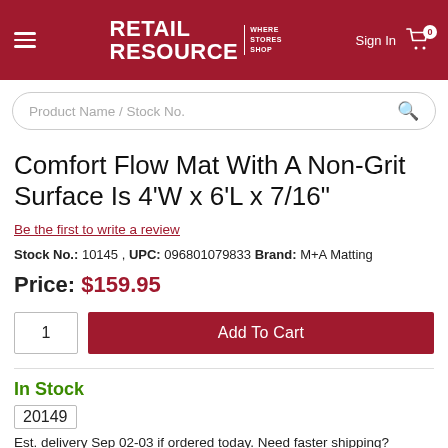RETAIL RESOURCE | WHERE STORES SHOP | Sign In | Cart 0
Product Name / Stock No.
Comfort Flow Mat With A Non-Grit Surface Is 4'W x 6'L x 7/16"
Be the first to write a review
Stock No.: 10145 , UPC: 096801079833 Brand: M+A Matting
Price: $159.95
1 | Add To Cart
In Stock
20149
Est. delivery Sep 02-03 if ordered today. Need faster shipping?